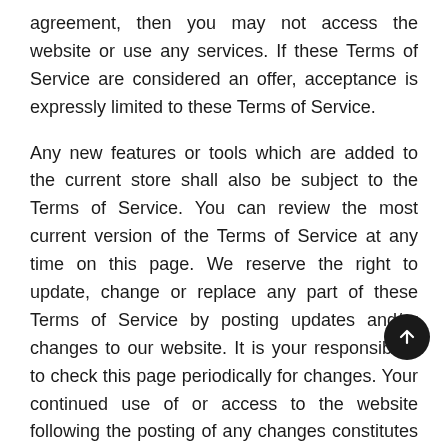agreement, then you may not access the website or use any services. If these Terms of Service are considered an offer, acceptance is expressly limited to these Terms of Service.
Any new features or tools which are added to the current store shall also be subject to the Terms of Service. You can review the most current version of the Terms of Service at any time on this page. We reserve the right to update, change or replace any part of these Terms of Service by posting updates and/or changes to our website. It is your responsibility to check this page periodically for changes. Your continued use of or access to the website following the posting of any changes constitutes acceptance of those changes.
Identity
La Machine Cycle Club B.V.
Staarten 1